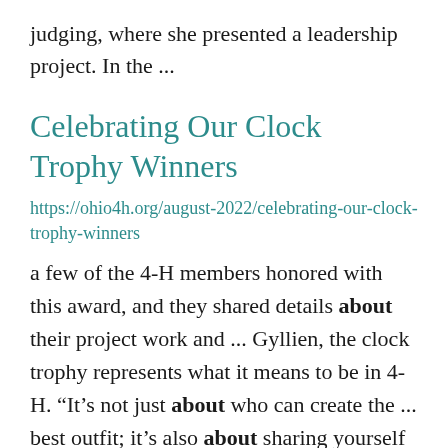judging, where she presented a leadership project. In the ...
Celebrating Our Clock Trophy Winners
https://ohio4h.org/august-2022/celebrating-our-clock-trophy-winners
a few of the 4-H members honored with this award, and they shared details about their project work and ... Gyllien, the clock trophy represents what it means to be in 4-H. “It’s not just about who can create the ... best outfit; it’s also about sharing yourself and your work to the judges. You have to be able to ...